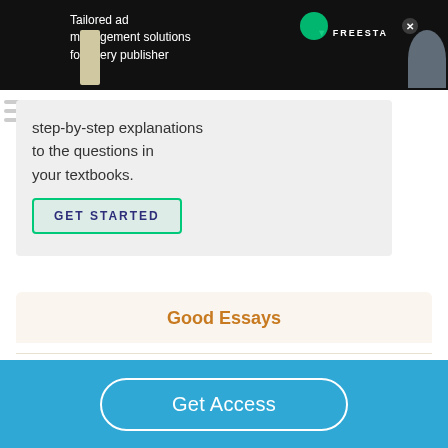[Figure (screenshot): Dark advertisement banner for Freestar ad management solutions with white text and green learn more button]
step-by-step explanations to the questions in your textbooks.
[Figure (illustration): Get Started button with green border inside a light gray box]
Good Essays
The Symbolism Of Sin In The Minister's Black
Get Access